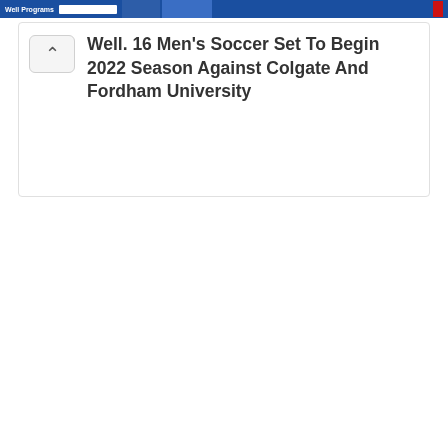Well. 16 Men's Soccer Set To Begin 2022 Season Against Colgate And Fordham University
Well. 16 Men's Soccer Set To Begin 2022 Season Against Colgate And Fordham University